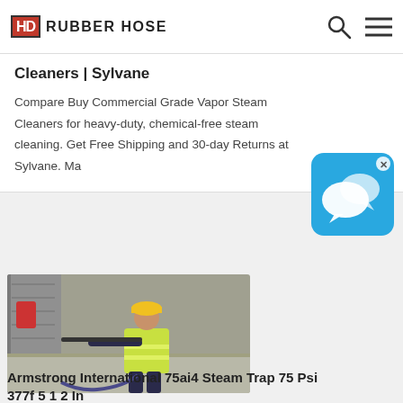HD RUBBER HOSE
Cleaners | Sylvane
Compare Buy Commercial Grade Vapor Steam Cleaners for heavy-duty, chemical-free steam cleaning. Get Free Shipping and 30-day Returns at Sylvane. Ma
[Figure (screenshot): Chat popup with messaging icon on blue background with X close button]
[Figure (photo): Worker in yellow hard hat and high-visibility vest using a pressure washer on a concrete surface near a wall]
Armstrong International 75ai4 Steam Trap 75 Psi 377f 5 1 2 In